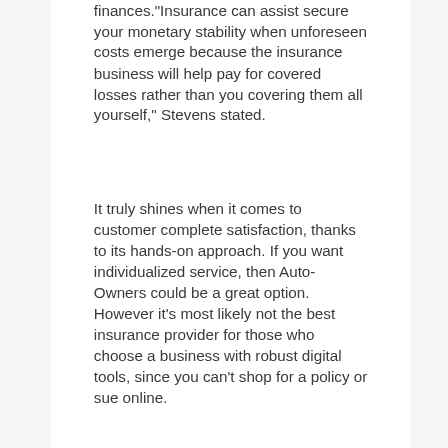finances."Insurance can assist secure your monetary stability when unforeseen costs emerge because the insurance business will help pay for covered losses rather than you covering them all yourself," Stevens stated.
It truly shines when it comes to customer complete satisfaction, thanks to its hands-on approach. If you want individualized service, then Auto-Owners could be a great option. However it's most likely not the best insurance provider for those who choose a business with robust digital tools, since you can't shop for a policy or sue online.